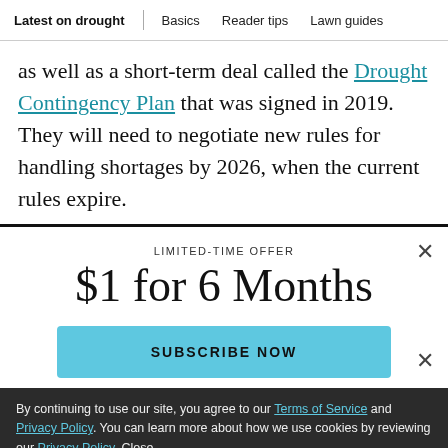Latest on drought | Basics | Reader tips | Lawn guides
as well as a short-term deal called the Drought Contingency Plan that was signed in 2019. They will need to negotiate new rules for handling shortages by 2026, when the current rules expire.
LIMITED-TIME OFFER
$1 for 6 Months
SUBSCRIBE NOW
By continuing to use our site, you agree to our Terms of Service and Privacy Policy. You can learn more about how we use cookies by reviewing our Privacy Policy. Close